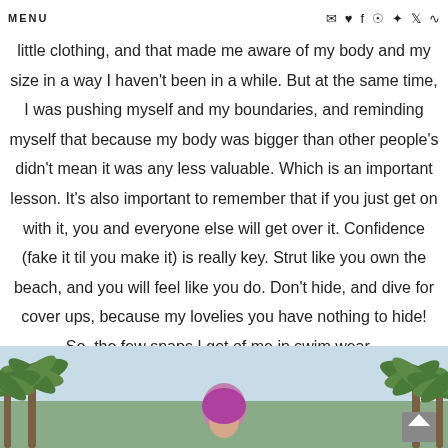MENU
little clothing, and that made me aware of my body and my size in a way I haven't been in a while. But at the same time, I was pushing myself and my boundaries, and reminding myself that because my body was bigger than other people's didn't mean it was any less valuable. Which is an important lesson. It's also important to remember that if you just get on with it, you and everyone else will get over it. Confidence (fake it til you make it) is really key. Strut like you own the beach, and you will feel like you do. Don't hide, and dive for cover ups, because my lovelies you have nothing to hide! So, the few snaps I got of me in swim wear...
[Figure (photo): Photo of a person with purple/pink hair surrounded by palm trees, outdoor setting]